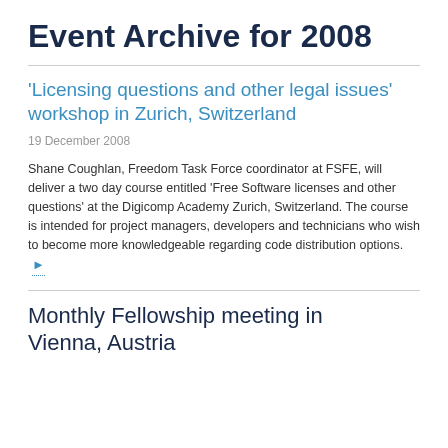Event Archive for 2008
'Licensing questions and other legal issues' workshop in Zurich, Switzerland
19 December 2008
Shane Coughlan, Freedom Task Force coordinator at FSFE, will deliver a two day course entitled 'Free Software licenses and other questions' at the Digicomp Academy Zurich, Switzerland. The course is intended for project managers, developers and technicians who wish to become more knowledgeable regarding code distribution options.
Monthly Fellowship meeting in Vienna, Austria